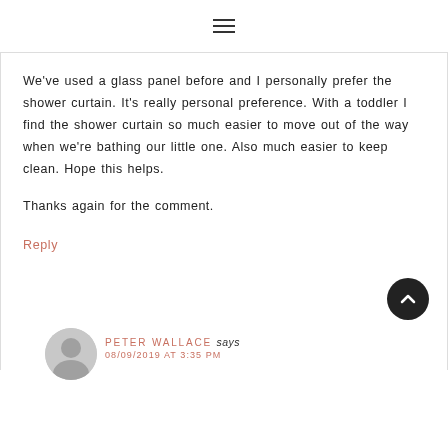≡
We've used a glass panel before and I personally prefer the shower curtain. It's really personal preference. With a toddler I find the shower curtain so much easier to move out of the way when we're bathing our little one. Also much easier to keep clean. Hope this helps.

Thanks again for the comment.
Reply
PETER WALLACE says
08/09/2019 AT 3:35 PM